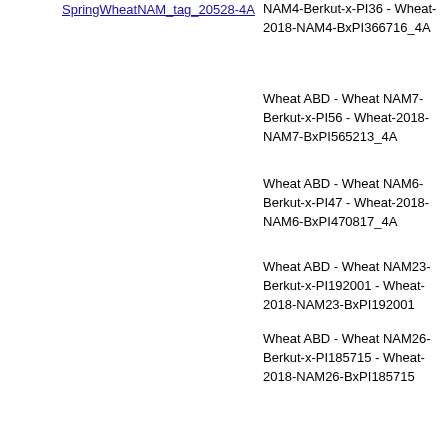SpringWheatNAM_tag_20528-4A
locus  0
NAM4-Berkut-x-PI36 - Wheat-2018-NAM4-BxPI366716_4A
Wheat ABD - Wheat NAM7-Berkut-x-PI56 - Wheat-2018-NAM7-BxPI565213_4A
Wheat ABD - Wheat NAM6-Berkut-x-PI47 - Wheat-2018-NAM6-BxPI470817_4A
Wheat ABD - Wheat NAM23-Berkut-x-PI192001 - Wheat-2018-NAM23-BxPI192001
Wheat ABD - Wheat NAM26-Berkut-x-PI185715 - Wheat-2018-NAM26-BxPI185715
Wheat ABD - Wheat NAM6-Berkut-x-PI47 - Wheat-2018-NAM6-BxPI470817_4A
Wheat ABD - Wheat NAM11-Berkut-x-Cl - Wheat-2018-NAM11-BxCltr4175_4A